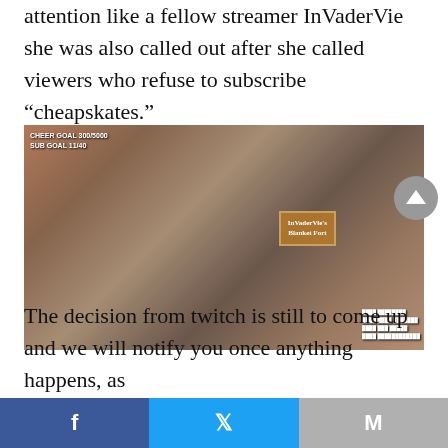attention like a fellow streamer InVaderVie she was also called out after she called viewers who refuse to subscribe “cheapskates.”
[Figure (screenshot): Twitch stream screenshot of streamer InVaderVie sitting in a blanket fort surrounded by stuffed animals and string lights. Stream overlay shows 'CHEER GOAL 300/5000' and 'SUB GOAL 11/40'. A sign reads 'InVaderVie's Blanket Fort'.]
The decision from twitch is still to come up and we will notify you once anything happens, as
f  [Twitter bird icon]  M